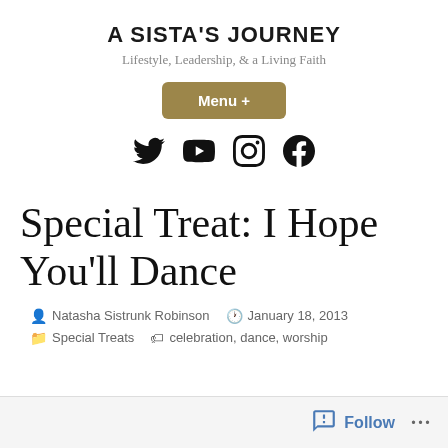A SISTA'S JOURNEY
Lifestyle, Leadership, & a Living Faith
[Figure (other): Menu + button (gold/brown rounded rectangle)]
[Figure (other): Social media icons: Twitter, YouTube, Instagram, Facebook]
Special Treat: I Hope You'll Dance
Natasha Sistrunk Robinson  January 18, 2013  Special Treats  celebration, dance, worship
Follow  ...